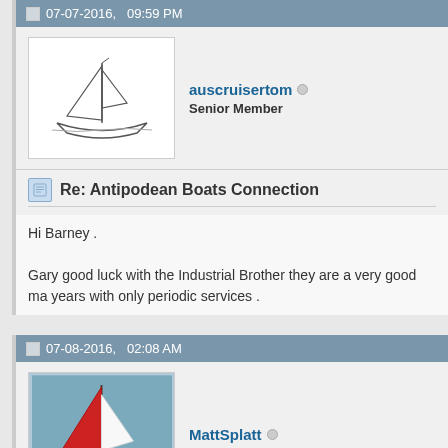07-07-2016, 09:59 PM
auscruisertom  Senior Member
Re: Antipodean Boats Connection
Hi Barney .

Gary good luck with the Industrial Brother they are a very good ma years with only periodic services .
07-08-2016, 02:08 AM
MattSplatt  Senior Member
Re: Antipodean Boats Connection
Peter, thank you for eBay link the other day. My Gori 2-blade folder mechanically excellent